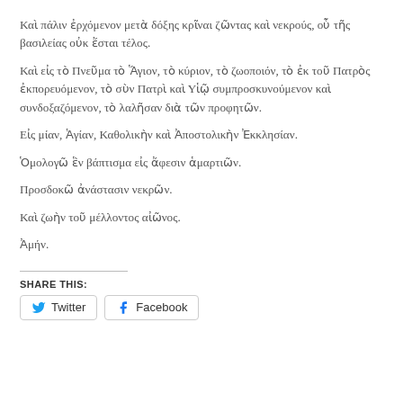Καὶ πάλιν ἐρχόμενον μετὰ δόξης κρῖναι ζῶντας καὶ νεκρούς, οὗ τῆς βασιλείας οὐκ ἔσται τέλος.
Καὶ εἰς τὸ Πνεῦμα τὸ Ἅγιον, τὸ κύριον, τὸ ζωοποιόν, τὸ ἐκ τοῦ Πατρὸς ἐκπορευόμενον, τὸ σὺν Πατρὶ καὶ Υἱῷ συμπροσκυνούμενον καὶ συνδοξαζόμενον, τὸ λαλῆσαν διὰ τῶν προφητῶν.
Εἰς μίαν, Ἁγίαν, Καθολικὴν καὶ Ἀποστολικὴν Ἐκκλησίαν.
Ὁμολογῶ ἓν βάπτισμα εἰς ἄφεσιν ἁμαρτιῶν.
Προσδοκῶ ἀνάστασιν νεκρῶν.
Καὶ ζωὴν τοῦ μέλλοντος αἰῶνος.
Ἀμήν.
SHARE THIS:
Twitter | Facebook